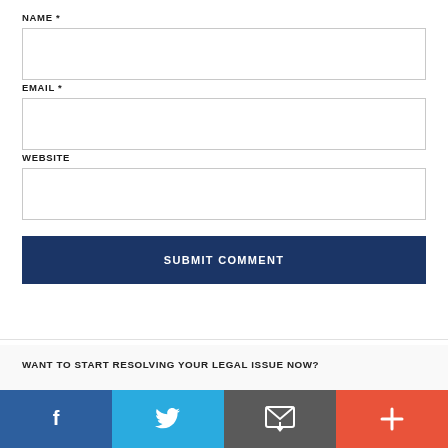NAME *
EMAIL *
WEBSITE
SUBMIT COMMENT
WANT TO START RESOLVING YOUR LEGAL ISSUE NOW?